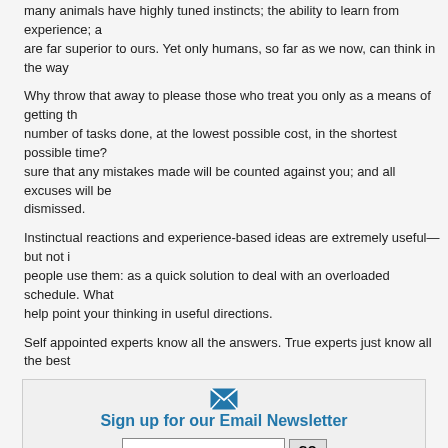many animals have highly tuned instincts; the ability to learn from experience, a are far superior to ours. Yet only humans, so far as we now, can think in the way
Why throw that away to please those who treat you only as a means of getting the number of tasks done, at the lowest possible cost, in the shortest possible time? sure that any mistakes made will be counted against you; and all excuses will be dismissed.
Instinctual reactions and experience-based ideas are extremely useful—but not i people use them: as a quick solution to deal with an overloaded schedule. What help point your thinking in useful directions.
Self appointed experts know all the answers. True experts just know all the best
[Figure (infographic): Sign up for our Email Newsletter box with envelope icon, email input field, GO button, and Privacy by SafeSubscribe badge]
Technorati tags: decision-making snap decisions making better choices sound ju management making good decisions using your mind
[Figure (other): Bookmark button with icons]
Popularity: 10% [?]